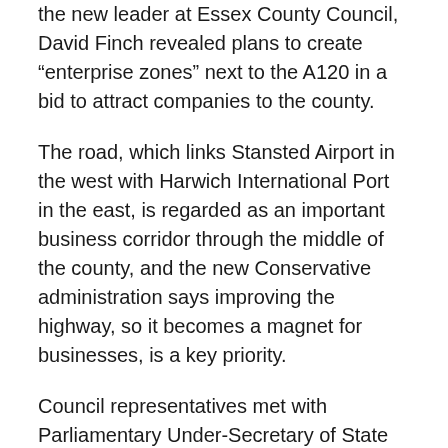the new leader at Essex County Council, David Finch revealed plans to create “enterprise zones” next to the A120 in a bid to attract companies to the county.
The road, which links Stansted Airport in the west with Harwich International Port in the east, is regarded as an important business corridor through the middle of the county, and the new Conservative administration says improving the highway, so it becomes a magnet for businesses, is a key priority.
Council representatives met with Parliamentary Under-Secretary of State for Transport Stephen Hammond earlier this year to discuss plans for upgrading the road. They have also approached representatives of the New Anglia Local Enterprise Partnership about setting up enterprise zones along the A120.
“We will influence our local enterprise partnership and central government, using every lever we can to get the